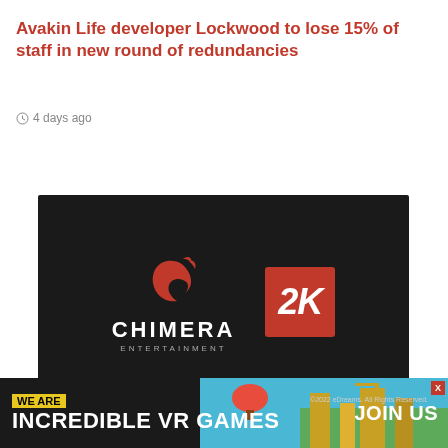Avakin Life developer Lockwood to lose 15% of staff in new round of redundancies
4 days ago
[Figure (logo): Chimera Entertainment and 2K logos on a dark background]
[Figure (infographic): Advertisement banner: WE ARE / INCREDIBLE VR GAMES / JOIN US with colorful game imagery]